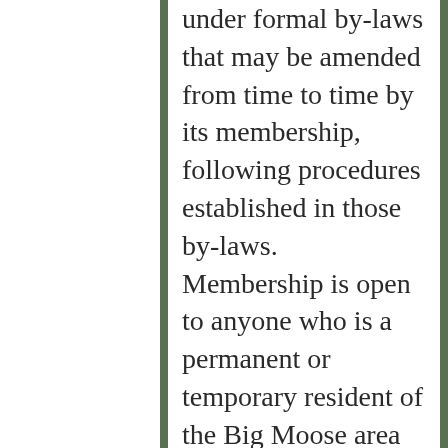under formal by-laws that may be amended from time to time by its membership, following procedures established in those by-laws. Membership is open to anyone who is a permanent or temporary resident of the Big Moose area who has signed the Chapel's Bond of Union or who has regularly worshipped at the Chapel, and who has regularly contributed to its financial support for at least one year. All the work of the